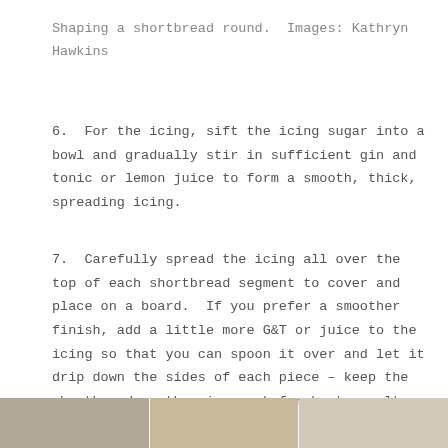Shaping a shortbread round. Images: Kathryn Hawkins
6. For the icing, sift the icing sugar into a bowl and gradually stir in sufficient gin and tonic or lemon juice to form a smooth, thick, spreading icing.
7. Carefully spread the icing all over the top of each shortbread segment to cover and place on a board. If you prefer a smoother finish, add a little more G&T or juice to the icing so that you can spoon it over and let it drip down the sides of each piece – keep the shortbread on the wire rack for best results.
[Figure (photo): Three side-by-side photo segments showing shortbread pieces, partially visible at the bottom of the page.]